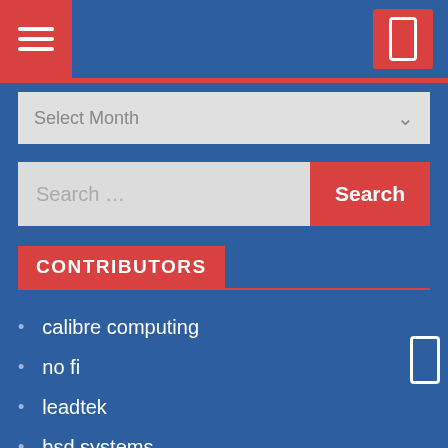[Figure (screenshot): Blue navigation bar with hamburger menu button on left (red background, three white bars) and phone icon button on top right (red background)]
[Figure (screenshot): Select Month dropdown input field with chevron]
[Figure (screenshot): Search input field with Search button on right (red background)]
CONTRIBUTORS
calibre computing
no fi
leadtek
bsd systems
scot micro centre
world of nokia
prysmian
babylonia
cityscope media